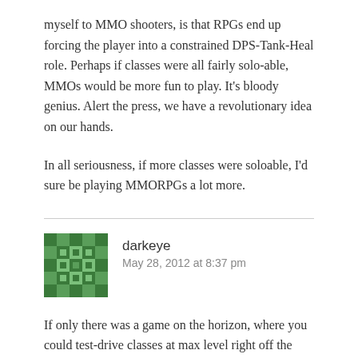myself to MMO shooters, is that RPGs end up forcing the player into a constrained DPS-Tank-Heal role. Perhaps if classes were all fairly solo-able, MMOs would be more fun to play. It's bloody genius. Alert the press, we have a revolutionary idea on our hands.
In all seriousness, if more classes were soloable, I'd sure be playing MMORPGs a lot more.
[Figure (illustration): Green geometric avatar/gravatar icon for user darkeye]
darkeye
May 28, 2012 at 8:37 pm
If only there was a game on the horizon, where you could test-drive classes at max level right off the mark, with all skills, traits, gear and mods unlocked...